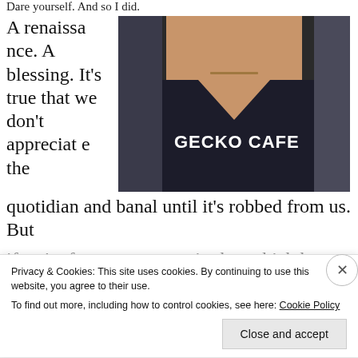Dare yourself. And so I did.
A renaissance. A blessing. It's true that we don't appreciate the quotidian and banal until it's robbed from us. But if we're fortunate to regain that which has been
[Figure (photo): Photo of a person wearing a black V-neck t-shirt with 'GECKO CAFE' printed on it in white handwritten-style lettering, with a necklace visible.]
Privacy & Cookies: This site uses cookies. By continuing to use this website, you agree to their use.
To find out more, including how to control cookies, see here: Cookie Policy
Close and accept